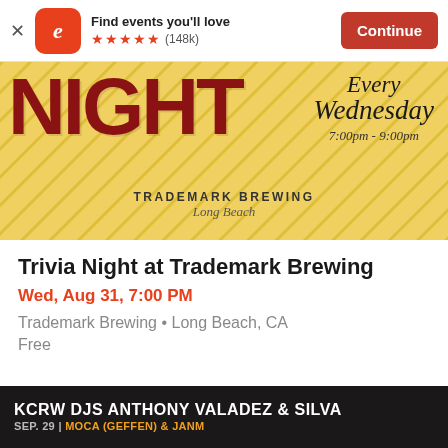[Figure (screenshot): Eventbrite app banner with logo, 'Find events you'll love', 5 stars (148k reviews), and Continue button]
[Figure (illustration): Trivia Night event banner with yellow background, large dark red 'NIGHT' text, 'Every Wednesday 7:00pm - 9:00pm', Trademark Brewing Long Beach]
Trivia Night at Trademark Brewing
Wed, Aug 31, 7:00 PM
Trademark Brewing • Long Beach, CA
Free
[Figure (illustration): KCRW DJs Anthony Valadez & Silva promo banner, Sep. 29, MOCA (Geffen) & JANM]